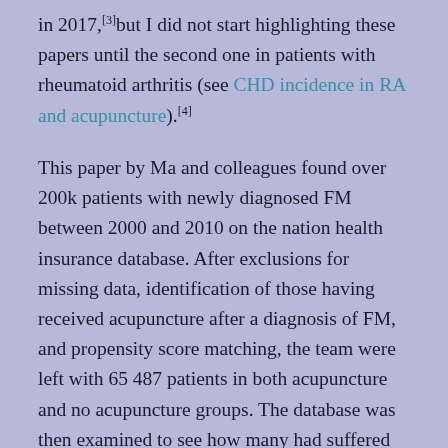in 2017,[3]but I did not start highlighting these papers until the second one in patients with rheumatoid arthritis (see CHD incidence in RA and acupuncture).[4]
This paper by Ma and colleagues found over 200k patients with newly diagnosed FM between 2000 and 2010 on the nation health insurance database. After exclusions for missing data, identification of those having received acupuncture after a diagnosis of FM, and propensity score matching, the team were left with 65 487 patients in both acupuncture and no acupuncture groups. The database was then examined to see how many had suffered strokes after 2013.